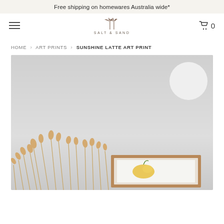Free shipping on homewares Australia wide*
[Figure (logo): Salt & Sand logo with palm tree illustration and text SALT & SAND]
HOME > ART PRINTS > SUNSHINE LATTE ART PRINT
[Figure (photo): Product photo of Sunshine Latte Art Print in a wooden frame surrounded by dried pampas grass stems on a gray background, with a white circular element in the top right corner]